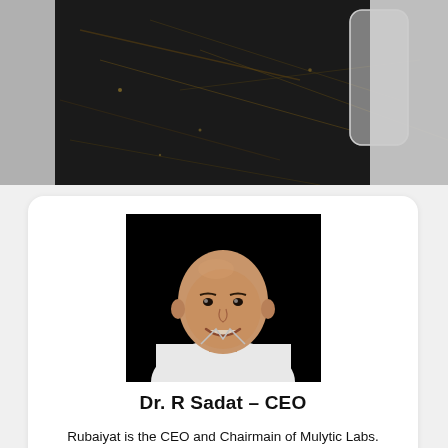[Figure (photo): Partial view of a dark textured surface (looks like a black mineral or rock) with a rounded rectangular light-colored shape overlay, on a grey background.]
[Figure (photo): Portrait photo of Dr. R Sadat, a bald man smiling, wearing a white shirt, against a black background.]
Dr. R Sadat – CEO
Rubaiyat is the CEO and Chairmain of Mulytic Labs. Raised in Dhaka, and currently living in Germany, Rubaiyat epitomizes the global experience. He has seen success in multiple environments, starting multiple companies and always driving innovation and alignment with a focus on continuous improvement. His expertise is in...